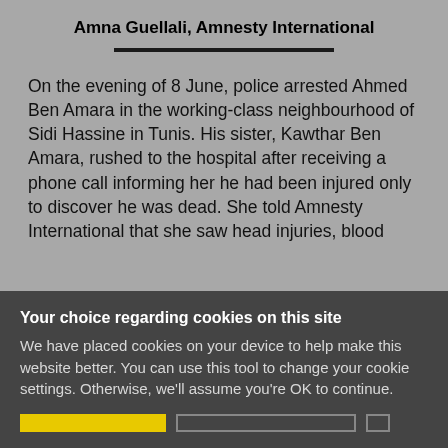Amna Guellali, Amnesty International
On the evening of 8 June, police arrested Ahmed Ben Amara in the working-class neighbourhood of Sidi Hassine in Tunis. His sister, Kawthar Ben Amara, rushed to the hospital after receiving a phone call informing her he had been injured only to discover he was dead. She told Amnesty International that she saw head injuries, blood
Your choice regarding cookies on this site
We have placed cookies on your device to help make this website better. You can use this tool to change your cookie settings. Otherwise, we'll assume you're OK to continue.